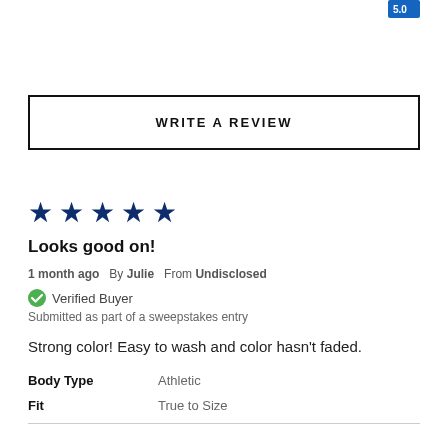[Figure (other): Blue badge/button partially visible at top right corner]
WRITE A REVIEW
[Figure (other): Five dark navy filled star icons indicating a 5-star rating]
Looks good on!
1 month ago  By Julie  From Undisclosed
Verified Buyer
Submitted as part of a sweepstakes entry
Strong color! Easy to wash and color hasn't faded.
| Attribute | Value |
| --- | --- |
| Body Type | Athletic |
| Fit | True to Size |